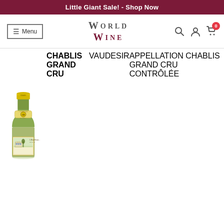Little Giant Sale! - Shop Now
[Figure (screenshot): World Wine website navigation bar with menu button, World Wine logo, search, account and cart icons]
[Figure (photo): Wine bottle of Chablis Grand Cru Vaudesir with yellow foil cap, gold medallion label, and detailed estate label showing chateau illustration. Label reads CHABLIS GRAND CRU VAUDESIR]